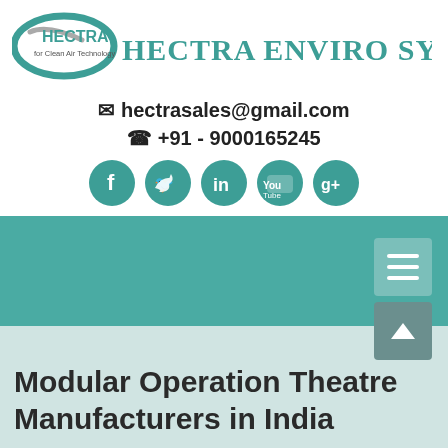[Figure (logo): Hectra Enviro Systems logo with teal oval swoosh, text HECTRA for Clean Air Technology, and HECTRA ENVIRO SYSTEMS in teal serif font]
✉ hectrasales@gmail.com
☎ +91 - 9000165245
[Figure (other): Five teal circular social media icons: Facebook, Twitter, LinkedIn, YouTube, Google+]
[Figure (other): Teal navigation bar with hamburger menu button on the right and a back-to-top arrow button]
Modular Operation Theatre Manufacturers in India
Home / Modular Operation Theatre Manufacturers in India